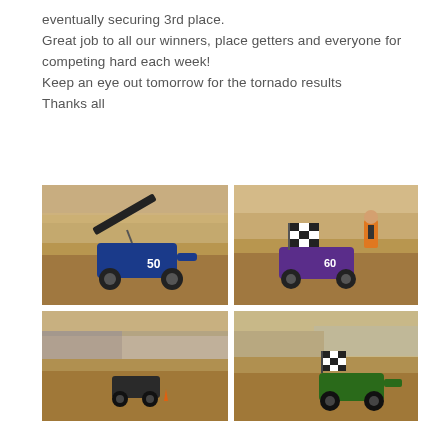eventually securing 3rd place.
Great job to all our winners, place getters and everyone for competing hard each week!
Keep an eye out tomorrow for the tornado results
Thanks all
[Figure (photo): Blue sprint car #50 on dirt track with wing raised]
[Figure (photo): Purple sprint car with checkered flag, official in orange vest in background]
[Figure (photo): Small racing kart on dirt track with orange cone]
[Figure (photo): Green sprint car with checkered flag on dirt track]